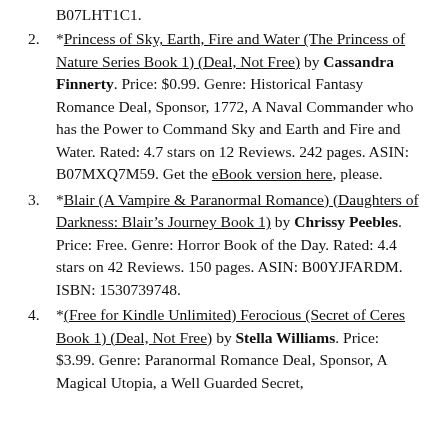B07LHT1C1. (truncated at top)
*Princess of Sky, Earth, Fire and Water (The Princess of Nature Series Book 1) (Deal, Not Free) by Cassandra Finnerty. Price: $0.99. Genre: Historical Fantasy Romance Deal, Sponsor, 1772, A Naval Commander who has the Power to Command Sky and Earth and Fire and Water. Rated: 4.7 stars on 12 Reviews. 242 pages. ASIN: B07MXQ7M59. Get the eBook version here, please.
*Blair (A Vampire & Paranormal Romance) (Daughters of Darkness: Blair's Journey Book 1) by Chrissy Peebles. Price: Free. Genre: Horror Book of the Day. Rated: 4.4 stars on 42 Reviews. 150 pages. ASIN: B00YJFARDM. ISBN: 1530739748.
*(Free for Kindle Unlimited) Ferocious (Secret of Ceres Book 1) (Deal, Not Free) by Stella Williams. Price: $3.99. Genre: Paranormal Romance Deal, Sponsor, A Magical Utopia, a Well Guarded Secret,